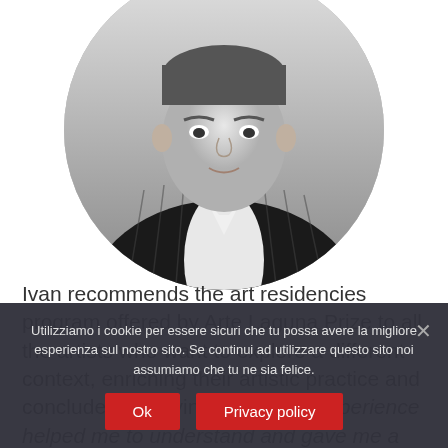[Figure (photo): Black and white circular portrait photo of a man in a pinstripe suit jacket and white shirt, cropped at chest level, shown from the front]
Ivan recommends the art residencies program offered by Arte Laguna Prize to all the artists who want to explore a different context, enriching their artistic practice and concludes by saying that: “This experience helped me to understand and gave me a broader vision, on how,
Utilizziamo i cookie per essere sicuri che tu possa avere la migliore esperienza sul nostro sito. Se continui ad utilizzare questo sito noi assumiamo che tu ne sia felice.
Ok  Privacy policy